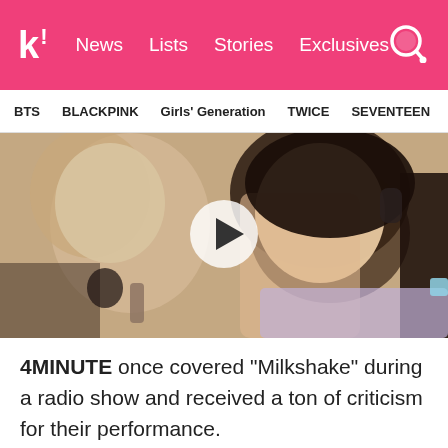k! News  Lists  Stories  Exclusives
BTS  BLACKPINK  Girls' Generation  TWICE  SEVENTEEN
[Figure (screenshot): Video thumbnail showing a young Asian woman with dark hair and headphones, with a play button overlay in the center. Background shows abstract painted figures.]
4MINUTE once covered "Milkshake" during a radio show and received a ton of criticism for their performance.